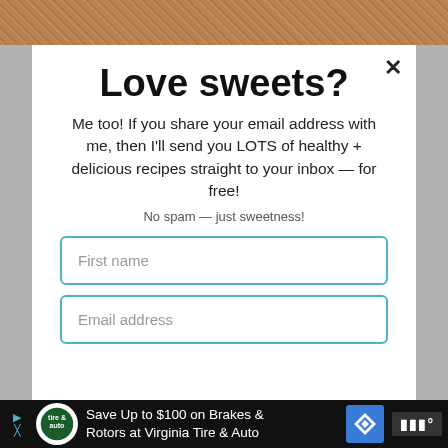[Figure (photo): Baked goods background image visible at top of page]
Love sweets?
Me too! If you share your email address with me, then I'll send you LOTS of healthy + delicious recipes straight to your inbox — for free!
No spam — just sweetness!
First name
Email address
[Figure (infographic): Advertisement bar at bottom: Save Up to $100 on Brakes & Rotors at Virginia Tire & Auto]